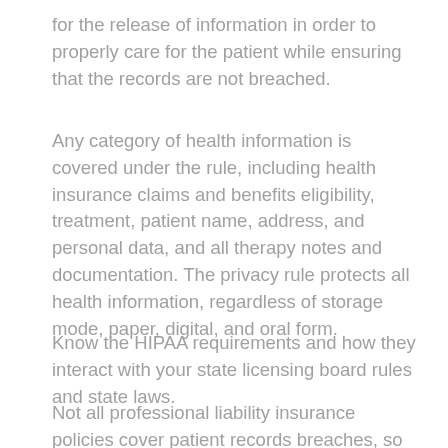for the release of information in order to properly care for the patient while ensuring that the records are not breached.
Any category of health information is covered under the rule, including health insurance claims and benefits eligibility, treatment, patient name, address, and personal data, and all therapy notes and documentation. The privacy rule protects all health information, regardless of storage mode, paper, digital, and oral form.
Know the HIPAA requirements and how they interact with your state licensing board rules and state laws.
Not all professional liability insurance policies cover patient records breaches, so read your policy